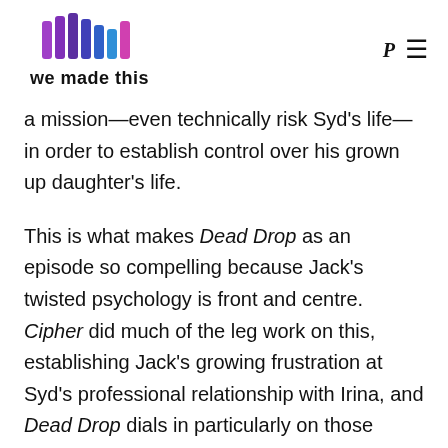we made this
a mission—even technically risk Syd's life—in order to establish control over his grown up daughter's life.

This is what makes Dead Drop as an episode so compelling because Jack's twisted psychology is front and centre. Cipher did much of the leg work on this, establishing Jack's growing frustration at Syd's professional relationship with Irina, and Dead Drop dials in particularly on those character points. Jesse Alexander's first script for the season therefore has a strong spine on which the rest of the narrative hangs, a clear internal arc as Jack's